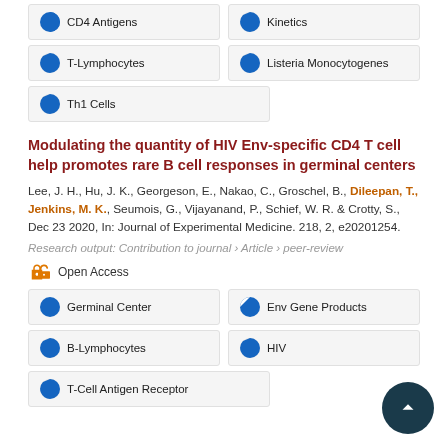CD4 Antigens
Kinetics
T-Lymphocytes
Listeria Monocytogenes
Th1 Cells
Modulating the quantity of HIV Env-specific CD4 T cell help promotes rare B cell responses in germinal centers
Lee, J. H., Hu, J. K., Georgeson, E., Nakao, C., Groschel, B., Dileepan, T., Jenkins, M. K., Seumois, G., Vijayanand, P., Schief, W. R. & Crotty, S., Dec 23 2020, In: Journal of Experimental Medicine. 218, 2, e20201254.
Research output: Contribution to journal › Article › peer-review
Open Access
Germinal Center
Env Gene Products
B-Lymphocytes
HIV
T-Cell Antigen Receptor